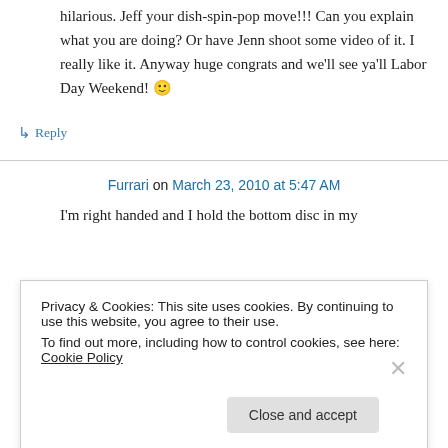hilarious. Jeff your dish-spin-pop move!!! Can you explain what you are doing? Or have Jenn shoot some video of it. I really like it. Anyway huge congrats and we'll see ya'll Labor Day Weekend! 🙂
↳ Reply
Furrari on March 23, 2010 at 5:47 AM
I'm right handed and I hold the bottom disc in my
Privacy & Cookies: This site uses cookies. By continuing to use this website, you agree to their use.
To find out more, including how to control cookies, see here: Cookie Policy
Close and accept